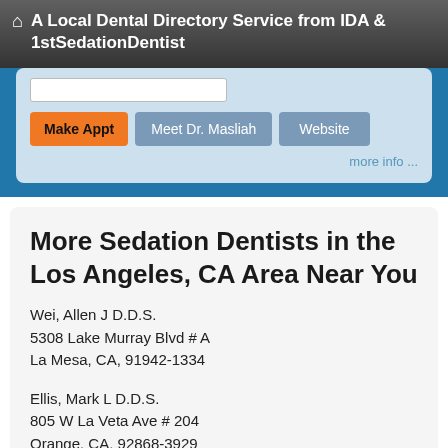A Local Dental Directory Service from IDA & 1stSedationDentist
Make Appt | Meet Dr. Masliah | Website | more info ...
More Sedation Dentists in the Los Angeles, CA Area Near You
Wei, Allen J D.D.S.
5308 Lake Murray Blvd # A
La Mesa, CA, 91942-1334
Ellis, Mark L D.D.S.
805 W La Veta Ave # 204
Orange, CA, 92868-3929
Doctor - Activate Your Free 1stSedationDentist Directory Listing